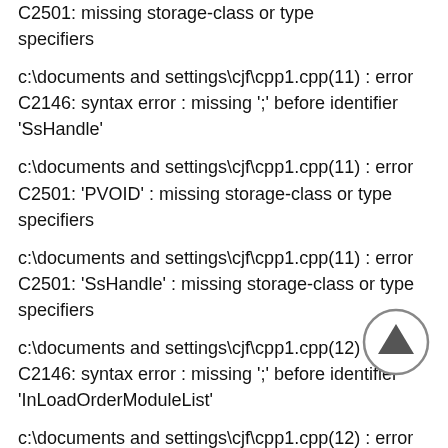C2501: missing storage-class or type specifiers
c:\documents and settings\cjf\cpp1.cpp(11) : error C2146: syntax error : missing ';' before identifier 'SsHandle'
c:\documents and settings\cjf\cpp1.cpp(11) : error C2501: 'PVOID' : missing storage-class or type specifiers
c:\documents and settings\cjf\cpp1.cpp(11) : error C2501: 'SsHandle' : missing storage-class or type specifiers
c:\documents and settings\cjf\cpp1.cpp(12) : error C2146: syntax error : missing ';' before identifier 'InLoadOrderModuleList'
c:\documents and settings\cjf\cpp1.cpp(12) : error C2501: 'LIST_ENTRY' : missing storage-class or type specifiers
c:\documents and settings\cjf\cpp1.cpp(12) : error